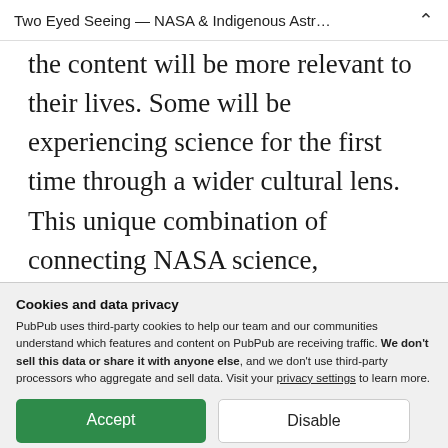Two Eyed Seeing — NASA & Indigenous Astr…
the content will be more relevant to their lives. Some will be experiencing science for the first time through a wider cultural lens. This unique combination of connecting NASA science, Indigenous science, and culture & art in an authentic and innovative way in the classroom will
Cookies and data privacy
PubPub uses third-party cookies to help our team and our communities understand which features and content on PubPub are receiving traffic. We don't sell this data or share it with anyone else, and we don't use third-party processors who aggregate and sell data. Visit your privacy settings to learn more.
built on the highest quality pre-existing